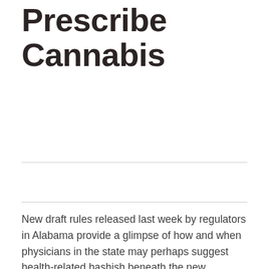Prescribe Cannabis
New draft rules released last week by regulators in Alabama provide a glimpse of how and when physicians in the state may perhaps suggest health-related hashish beneath the new legislation.
The Alabama Point out Board of Healthcare Examiners available up the policies on Thursday for general public comment, expressing they were “developed in accordance with the state’s new legislation on professional medical hashish, which